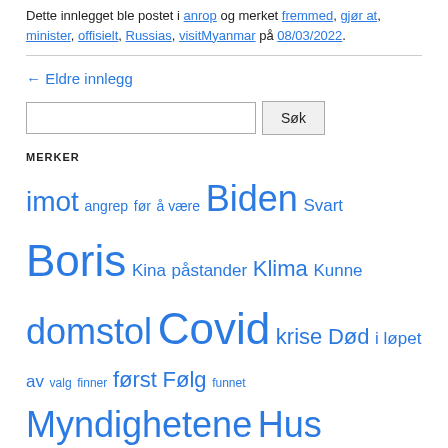Dette innlegget ble postet i anrop og merket fremmed, gjør at, minister, offisielt, Russias, visitMyanmar på 08/03/2022.
← Eldre innlegg
Søk [search box]
MERKER
imot angrep før å være Biden Svart Boris Kina påstander Klima Kunne domstol Covid krise Død i løpet av valg finner først Følg funnet Myndighetene Hus Johnson Dømme Siste minister mennesker Politiet rapportere regler Russland Russisk skole skyting Texas reise rettssaken Trump Ukraina under vaksine advarer Kvinne